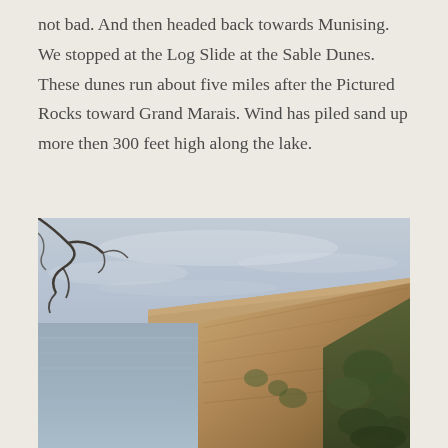not bad. And then headed back towards Munising. We stopped at the Log Slide at the Sable Dunes.  These dunes run about five miles after the Pictured Rocks toward Grand Marais. Wind has piled sand up more then 300 feet high along the lake.
[Figure (photo): Aerial view of large sand dunes (Sable Dunes) rising steeply above Lake Superior near Munising, Michigan. The image shows a dramatic sandy cliff face descending to calm grey-blue lake water, with sparse vegetation on the dune slopes and a cloudy sky above.]